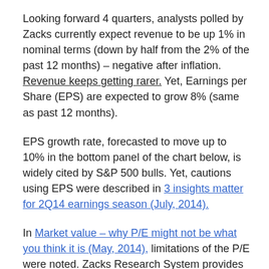Looking forward 4 quarters, analysts polled by Zacks currently expect revenue to be up 1% in nominal terms (down by half from the 2% of the past 12 months) – negative after inflation. Revenue keeps getting rarer. Yet, Earnings per Share (EPS) are expected to grow 8% (same as past 12 months).
EPS growth rate, forecasted to move up to 10% in the bottom panel of the chart below, is widely cited by S&P 500 bulls. Yet, cautions using EPS were described in 3 insights matter for 2Q14 earnings season (July, 2014).
In Market value – why P/E might not be what you think it is (May, 2014), limitations of the P/E were noted. Zacks Research System provides a comparison of P/E ratio to the Price/Earnings to Growth (PEG) ratio. The PEG ratio divides P/E by analyst estimates of 3-5 year EPS growth rate. To the extent that a better class of S&P 500 EPS growth rate...